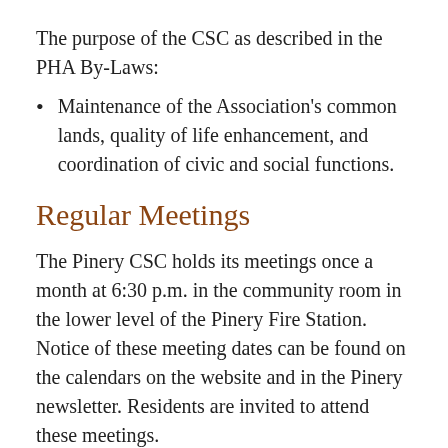The purpose of the CSC as described in the PHA By-Laws:
Maintenance of the Association's common lands, quality of life enhancement, and coordination of civic and social functions.
Regular Meetings
The Pinery CSC holds its meetings once a month at 6:30 p.m. in the community room in the lower level of the Pinery Fire Station. Notice of these meeting dates can be found on the calendars on the website and in the Pinery newsletter. Residents are invited to attend these meetings.